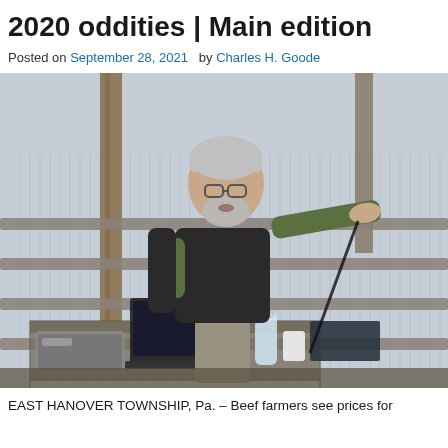2020 oddities | Main edition
Posted on September 28, 2021   by Charles H. Goode
[Figure (photo): A man with gray hair and beard wearing a dark vest over a green shirt stands at a table inside a barn or agricultural building, gesturing with his right arm outstretched. A laptop, projector, water bottle, and cup are on the table. Metal gate panels and corrugated metal walls are visible in the background.]
EAST HANOVER TOWNSHIP, Pa. – Beef farmers see prices for